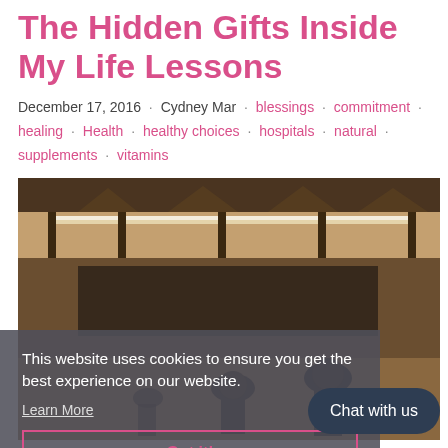The Hidden Gifts Inside My Life Lessons
December 17, 2016 · Cydney Mar · blessings · commitment · healing · Health · healthy choices · hospitals · natural · supplements · vitamins
[Figure (photo): Sepia-toned photo of a school or lecture hall interior with people silhouetted against light, overlaid with a cookie consent banner and a 'Chat with us' button.]
This website uses cookies to ensure you get the best experience on our website. Learn More
Got it!
Chat with us